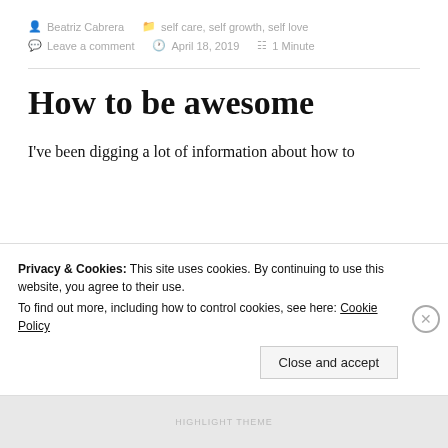Beatriz Cabrera   self care, self growth, self love   Leave a comment   April 18, 2019   1 Minute
How to be awesome
I've been digging a lot of information about how to
Privacy & Cookies: This site uses cookies. By continuing to use this website, you agree to their use. To find out more, including how to control cookies, see here: Cookie Policy
Close and accept
HIGHLIGHT THEME